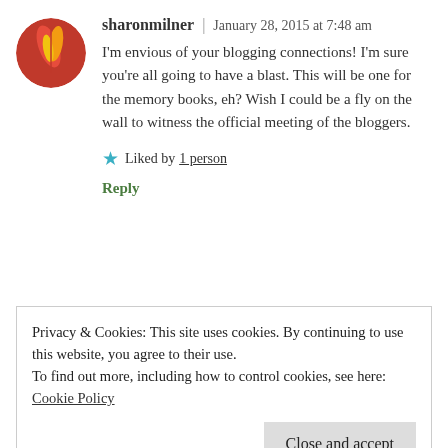[Figure (photo): Circular avatar image with red background and feather/flame design]
sharonmilner | January 28, 2015 at 7:48 am
I'm envious of your blogging connections! I'm sure you're all going to have a blast. This will be one for the memory books, eh? Wish I could be a fly on the wall to witness the official meeting of the bloggers.
★ Liked by 1 person
Reply
[Figure (photo): Circular avatar of a woman with white/grey hair smiling]
thecontentedcrafter | January 28, 2015 at
Privacy & Cookies: This site uses cookies. By continuing to use this website, you agree to their use.
To find out more, including how to control cookies, see here: Cookie Policy
Close and accept